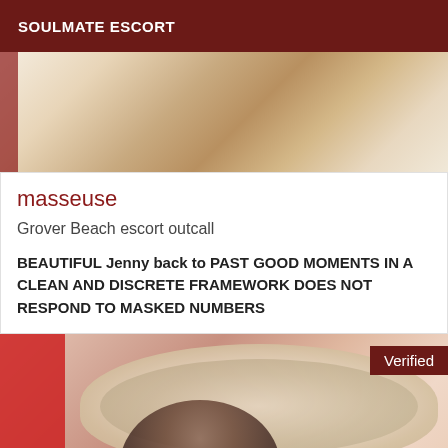SOULMATE ESCORT
[Figure (photo): Partial photo of a person, cropped view showing legs and fabric, with a dark red strip on the left edge]
masseuse
Grover Beach escort outcall
BEAUTIFUL Jenny back to PAST GOOD MOMENTS IN A CLEAN AND DISCRETE FRAMEWORK DOES NOT RESPOND TO MASKED NUMBERS
[Figure (photo): Photo of a woman with dark hair in front of an ornate cream/white decorative headboard. Red quilted fabric visible on the left. A 'Verified' badge appears in the top right corner.]